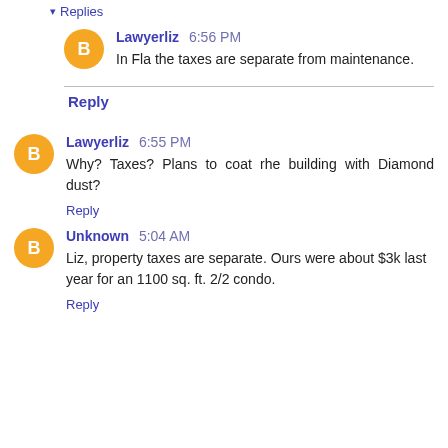▾ Replies
Lawyerliz 6:56 PM — In Fla the taxes are separate from maintenance.
Reply
Lawyerliz 6:55 PM — Why? Taxes? Plans to coat rhe building with Diamond dust?
Reply
Unknown 5:04 AM — Liz, property taxes are separate. Ours were about $3k last year for an 1100 sq. ft. 2/2 condo.
Reply